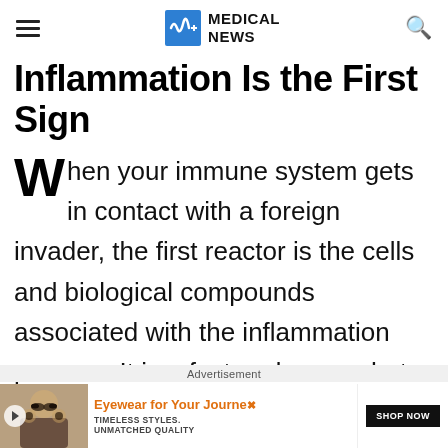Medical News
Inflammation Is the First Sign
When your immune system gets in contact with a foreign invader, the first reactor is the cells and biological compounds associated with the inflammation process. It is a fast and somewhat messy signal that destroys
Advertisement
[Figure (photo): Advertisement banner showing a man wearing sunglasses with text 'Eyewear for Your Journey. Timeless Styles. Unmatched Quality. Shop Now.']